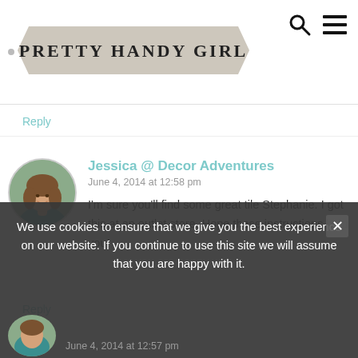[Figure (logo): Pretty Handy Girl blog logo on a banner/ribbon shape with a bullet point to the left]
Reply
[Figure (photo): Circular avatar photo of Jessica, a woman with curly hair wearing a teal top, smiling]
Jessica @ Decor Adventures
June 4, 2014 at 12:58 pm
I'm sure you'll find some great tile Stephanie. I got this at an outlet store. Hope these instructions help you!
Reply
We use cookies to ensure that we give you the best experience on our website. If you continue to use this site we will assume that you are happy with it.
June 4, 2014 at 12:57 pm